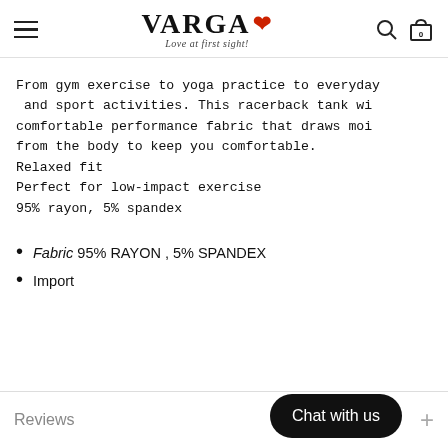VARGA Love at first sight!
From gym exercise to yoga practice to everyday and sport activities. This racerback tank wi comfortable performance fabric that draws moi from the body to keep you comfortable.
Relaxed fit
Perfect for low-impact exercise
95% rayon, 5% spandex
Fabric 95% RAYON , 5% SPANDEX
Import
Reviews